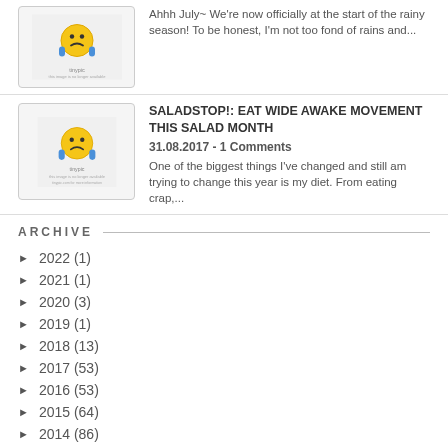[Figure (illustration): TinyPic placeholder image with sad face emoji and TinyPic logo, gray border box]
Ahhh July~ We're now officially at the start of the rainy season! To be honest, I'm not too fond of rains and...
[Figure (illustration): TinyPic placeholder image with sad face emoji and TinyPic logo, gray border box]
SALADSTOP!: EAT WIDE AWAKE MOVEMENT THIS SALAD MONTH
31.08.2017 - 1 Comments
One of the biggest things I've changed and still am trying to change this year is my diet. From eating crap,...
ARCHIVE
► 2022 (1)
► 2021 (1)
► 2020 (3)
► 2019 (1)
► 2018 (13)
► 2017 (53)
► 2016 (53)
► 2015 (64)
► 2014 (86)
▼ 2013 (141)